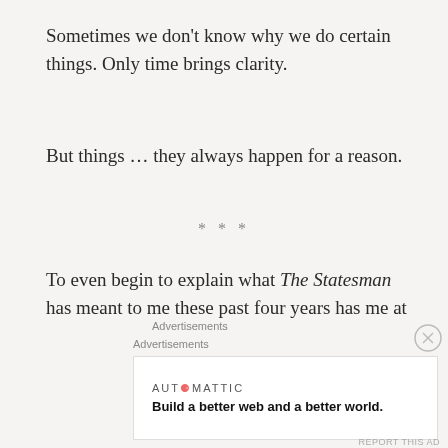Sometimes we don't know why we do certain things. Only time brings clarity.
But things … they always happen for a reason.
* * *
To even begin to explain what The Statesman has meant to me these past four years has me at a loss for words. I don't know where to begin. My notes are a jumbled mess of how this paper has impacted my life, and I realize that it truly has been my life in college.
Advertisements
Advertisements
AUTOMATTIC
Build a better web and a better world.